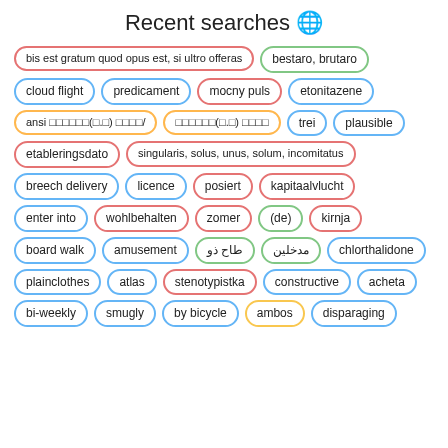Recent searches 🌐
bis est gratum quod opus est, si ultro offeras
bestaro, brutaro
cloud flight
predicament
mocny puls
etonitazene
ansi 🈲🈲🈲🈲🈲🈲(🈲.🈲) 🈲🈲🈲🈲/
🈲🈲🈲🈲🈲🈲(🈲.🈲) 🈲🈲🈲🈲
trei
plausible
etableringsdato
singularis, solus, unus, solum, incomitatus
breech delivery
licence
posiert
kapitaalvlucht
enter into
wohlbehalten
zomer
(de)
kirnja
board walk
amusement
طاح ذو
مدخلين
chlorthalidone
plainclothes
atlas
stenotypistka
constructive
acheta
bi-weekly
smugly
by bicycle
ambos
disparaging